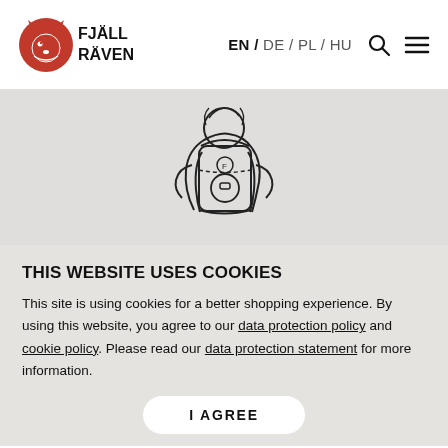[Figure (logo): Fjällräven logo: red fox head icon with FJÄLLRÄVEN text]
EN / DE / PL / HU
[Figure (illustration): Black and white line drawing of a person wearing a large backpack, viewed from behind]
THIS WEBSITE USES COOKIES
This site is using cookies for a better shopping experience. By using this website, you agree to our data protection policy and cookie policy. Please read our data protection statement for more information.
I AGREE